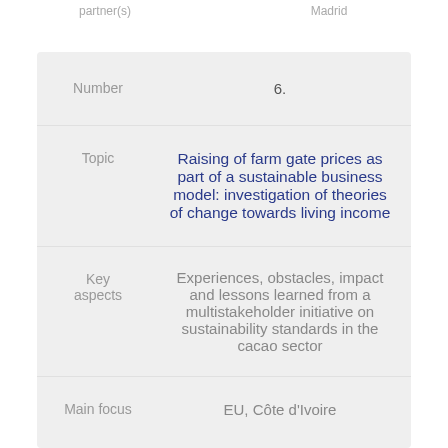partner(s)
Madrid
|  |  |
| --- | --- |
| Number | 6. |
| Topic | Raising of farm gate prices as part of a sustainable business model: investigation of theories of change towards living income |
| Key aspects | Experiences, obstacles, impact and lessons learned from a multistakeholder initiative on sustainability standards in the cacao sector |
| Main focus | EU, Côte d'Ivoire |